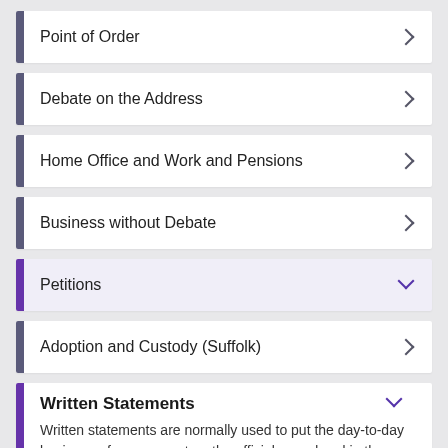Point of Order
Debate on the Address
Home Office and Work and Pensions
Business without Debate
Petitions
Adoption and Custody (Suffolk)
Written Statements
Written statements are normally used to put the day-to-day business of government on the official record and in the public domain.